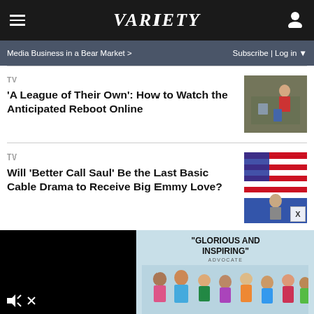VARIETY
Media Business in a Bear Market >
Subscribe | Log in
TV
'A League of Their Own': How to Watch the Anticipated Reboot Online
[Figure (photo): Scene from A League of Their Own reboot, person in red top]
TV
Will 'Better Call Saul' Be the Last Basic Cable Drama to Receive Big Emmy Love?
[Figure (photo): Person standing in front of American flag]
[Figure (photo): Ad: Glorious and Inspiring - group of diverse people]
"GLORIOUS AND INSPIRING" ADVOCATE